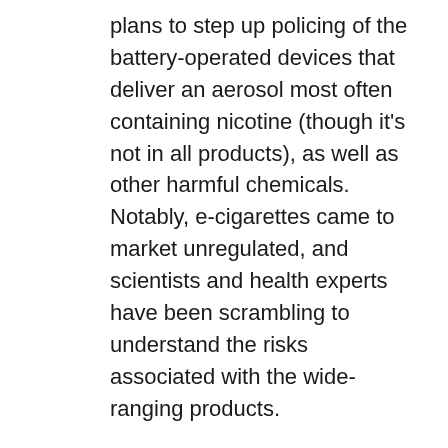plans to step up policing of the battery-operated devices that deliver an aerosol most often containing nicotine (though it's not in all products), as well as other harmful chemicals. Notably, e-cigarettes came to market unregulated, and scientists and health experts have been scrambling to understand the risks associated with the wide-ranging products.
The picture can be hazy for parents trying to protect their kids, too. For one thing, all the back-and-forth debate regarding e-cigarettes' potential usefulness as a quit aid for adults who smoke traditional cigarettes can distract from the risks vaping poses to kids who have never smoked at all, experts say. But